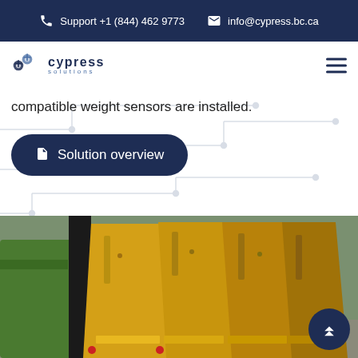Support +1 (844) 462 9773   info@cypress.bc.ca
[Figure (logo): Cypress Solutions logo with gear/snowflake icon and text 'cypress solutions']
compatible weight sensors are installed.
[Figure (other): Dark navy rounded rectangle button with document icon and text 'Solution overview']
[Figure (photo): Photo of yellow garbage truck rear-loading mechanisms lined up in front of a green building, with a green waste container on the left]